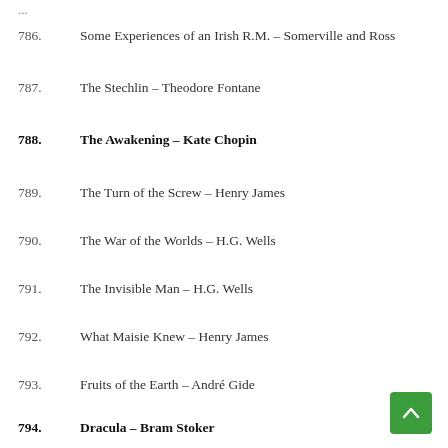786. Some Experiences of an Irish R.M. – Somerville and Ross
787. The Stechlin – Theodore Fontane
788. The Awakening – Kate Chopin
789. The Turn of the Screw – Henry James
790. The War of the Worlds – H.G. Wells
791. The Invisible Man – H.G. Wells
792. What Maisie Knew – Henry James
793. Fruits of the Earth – André Gide
794. Dracula – Bram Stoker
795. Quo Vadis – Henryk Sienkiewicz